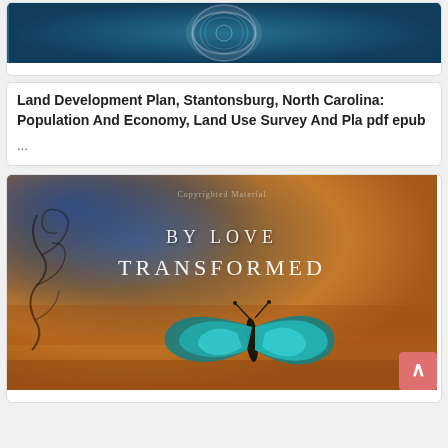[Figure (illustration): Book cover image for Land Development Plan Stantonsburg North Carolina - teal/dark background with circular emblem]
Land Development Plan, Stantonsburg, North Carolina: Population And Economy, Land Use Survey And Pla pdf epub
...
[Figure (photo): Book cover for 'By Love Transformed' featuring a blue butterfly on an orange/rust textured background with floral scroll design on the left. Text reads 'Copyrighted Material', 'By Love', 'Transformed'. A pink/red scroll-to-top button is visible in the bottom right corner.]